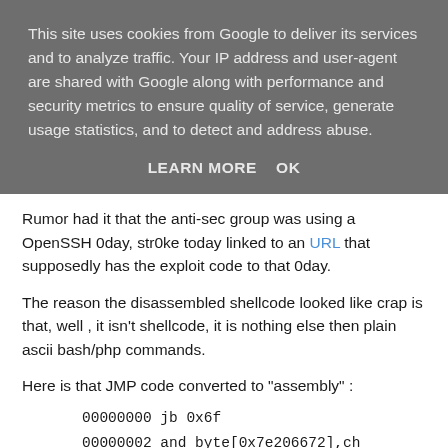This site uses cookies from Google to deliver its services and to analyze traffic. Your IP address and user-agent are shared with Google along with performance and security metrics to ensure quality of service, generate usage statistics, and to detect and address abuse.
LEARN MORE   OK
Rumor had it that the anti-sec group was using a OpenSSH 0day, str0ke today linked to an URL that supposedly has the exploit code to that 0day.
The reason the disassembled shellcode looked like crap is that, well , it isn't shellcode, it is nothing else then plain ascii bash/php commands.
Here is that JMP code converted to "assembly" :
00000000 jb 0x6f
00000002 and byte[0x7e206672],ch
00000008 and byte[edi],ch